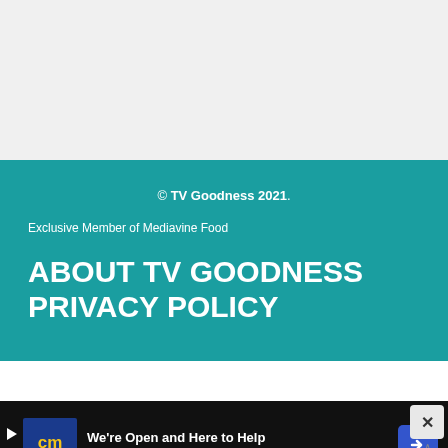© TV Goodness 2021.
Exclusive Member of Mediavine Food
ABOUT TV GOODNESS
PRIVACY POLICY
[Figure (screenshot): CarMax advertisement banner: 'We're Open and Here to Help' with CarMax logo and blue arrow icon, on dark background with close button]